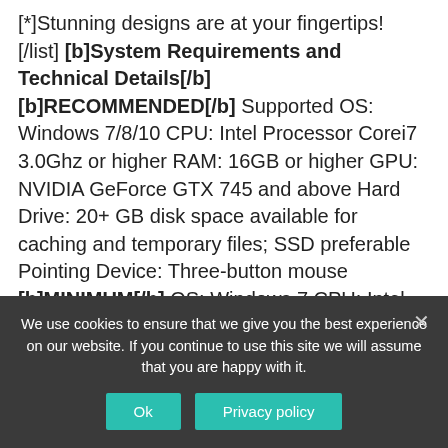[*]Stunning designs are at your fingertips! [/list] [b]System Requirements and Technical Details[/b] [b]RECOMMENDED[/b] Supported OS: Windows 7/8/10 CPU: Intel Processor Corei7 3.0Ghz or higher RAM: 16GB or higher GPU: NVIDIA GeForce GTX 745 and above Hard Drive: 20+ GB disk space available for caching and temporary files; SSD preferable Pointing Device: Three-button mouse [b]MINIMUM[/b] OS: Windows 7 CPU: Intel Processor, Corei5 2.4 GHz RAM: 8GB 4GB can run Marvelous Designer, but errors are highly likely when processing heavier files GPU: NVIDIA GeForce GTX 560 Hard Drive: 10+ GB disk space available for complete content installation Pointing Device: Three-button mouse
We use cookies to ensure that we give you the best experience on our website. If you continue to use this site we will assume that you are happy with it.